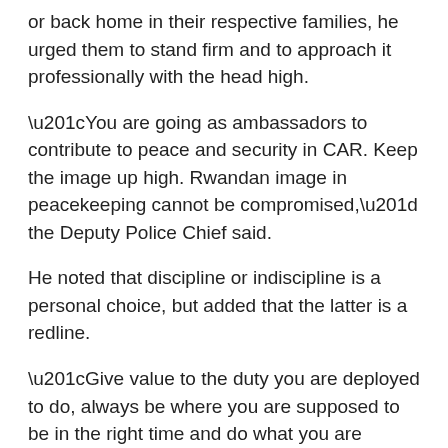or back home in their respective families, he urged them to stand firm and to approach it professionally with the head high.
“You are going as ambassadors to contribute to peace and security in CAR. Keep the image up high. Rwandan image in peacekeeping cannot be compromised,” the Deputy Police Chief said.
He noted that discipline or indiscipline is a personal choice, but added that the latter is a redline.
“Give value to the duty you are deployed to do, always be where you are supposed to be in the right time and do what you are required to do.
You have a big task to ensure the protection of top